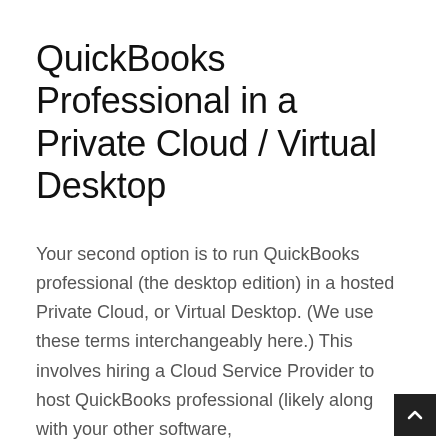QuickBooks Professional in a Private Cloud / Virtual Desktop
Your second option is to run QuickBooks professional (the desktop edition) in a hosted Private Cloud, or Virtual Desktop. (We use these terms interchangeably here.) This involves hiring a Cloud Service Provider to host QuickBooks professional (likely along with your other software,